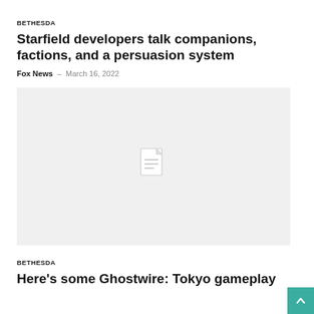BETHESDA
Starfield developers talk companions, factions, and a persuasion system
Fox News  –  March 16, 2022
[Figure (photo): Placeholder image with a document/file icon on a light gray background]
BETHESDA
Here's some Ghostwire: Tokyo gameplay